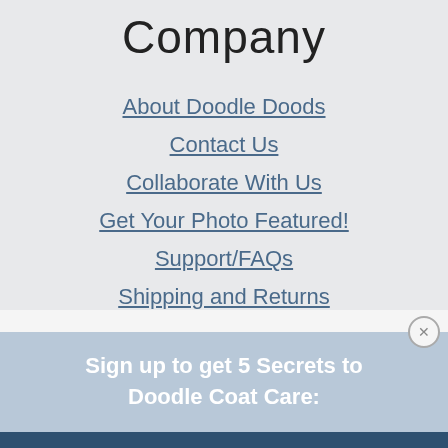Company
About Doodle Doods
Contact Us
Collaborate With Us
Get Your Photo Featured!
Support/FAQs
Shipping and Returns
Sign up to get 5 Secrets to Doodle Coat Care: